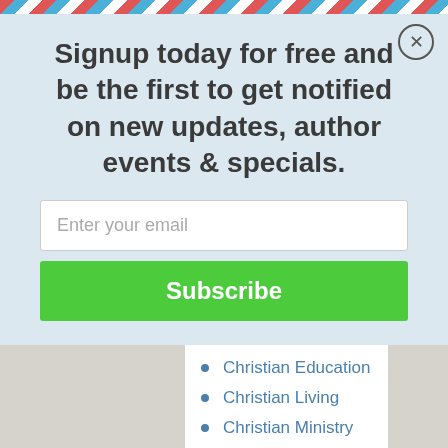Signup today for free and be the first to get notified on new updates, author events & specials.
Christian Education
Christian Living
Christian Ministry
Christian Rituals & Practice
Christian Theology
Christianity
Clergy
Comparative Religion
Confucianism
Counseling
Cults
Deism